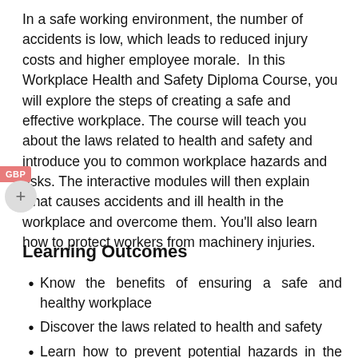Workplace Health and Safety Diploma Course.
In a safe working environment, the number of accidents is low, which leads to reduced injury costs and higher employee morale.  In this Workplace Health and Safety Diploma Course, you will explore the steps of creating a safe and effective workplace. The course will teach you about the laws related to health and safety and introduce you to common workplace hazards and risks. The interactive modules will then explain what causes accidents and ill health in the workplace and overcome them. You'll also learn how to protect workers from machinery injuries.
Learning Outcomes
Know the benefits of ensuring a safe and healthy workplace
Discover the laws related to health and safety
Learn how to prevent potential hazards in the workplace